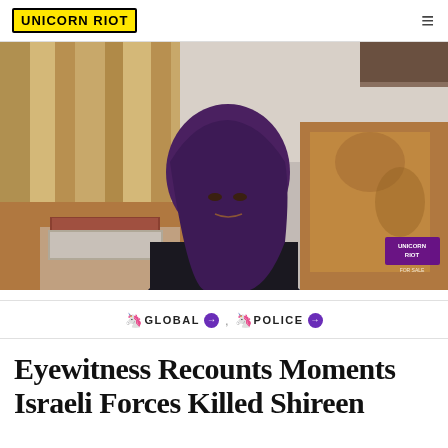UNICORN RIOT
[Figure (photo): A woman wearing a dark purple hijab and black clothing sits on a patterned sofa, looking downward. A decorative book rests on a small table in front of her. Curtains and a wall are visible in the background. A Unicorn Riot watermark appears in the lower right corner.]
🦄 GLOBAL ➔ , 🦄 POLICE ➔
Eyewitness Recounts Moments Israeli Forces Killed Shireen